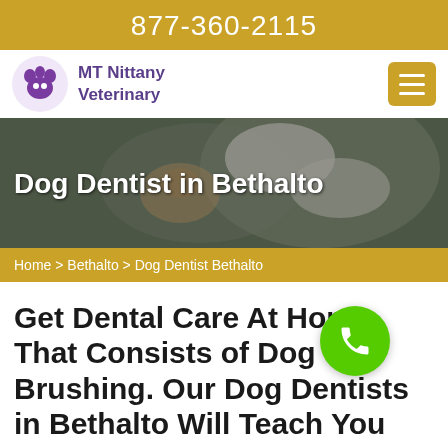877-360-2115
[Figure (logo): MT Nittany Veterinary logo with purple animal icon and text]
[Figure (photo): Veterinarian in white gloves examining a dog's teeth/mouth]
Dog Dentist in Bethalto
Home > Bethalto > Dog Dentist Bethalto
Get Dental Care At Home That Consists of Dog Brushing. Our Dog Dentists in Bethalto Will Teach You How To Care For Your Dog's Teeth And Mouth. We Are